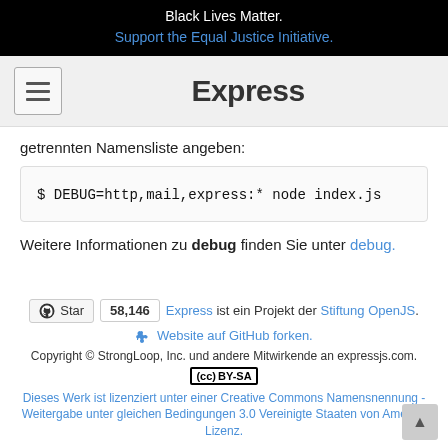Black Lives Matter. Support the Equal Justice Initiative.
Express
getrennten Namensliste angeben:
Weitere Informationen zu debug finden Sie unter debug.
Star 58,146 Express ist ein Projekt der Stiftung OpenJS. Website auf GitHub forken. Copyright © StrongLoop, Inc. und andere Mitwirkende an expressjs.com. CC BY-SA Dieses Werk ist lizenziert unter einer Creative Commons Namensnennung - Weitergabe unter gleichen Bedingungen 3.0 Vereinigte Staaten von Amerika Lizenz.